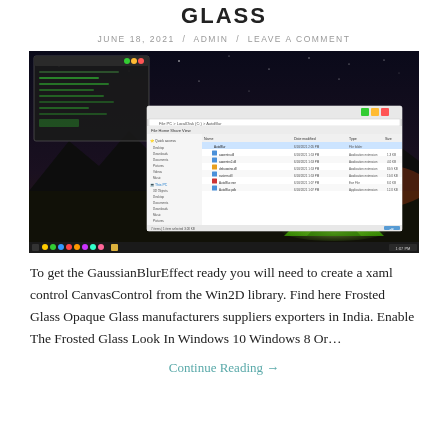GLASS
JUNE 18, 2021 / ADMIN / LEAVE A COMMENT
[Figure (screenshot): Screenshot of a Windows 10 desktop with a File Explorer window open, showing a night-sky wallpaper with a glowing green tent in the foreground. A dark command prompt or application window is open on the left, and the File Explorer window shows a folder with several files listed.]
To get the GaussianBlurEffect ready you will need to create a xaml control CanvasControl from the Win2D library. Find here Frosted Glass Opaque Glass manufacturers suppliers exporters in India. Enable The Frosted Glass Look In Windows 10 Windows 8 Or…
Continue Reading →